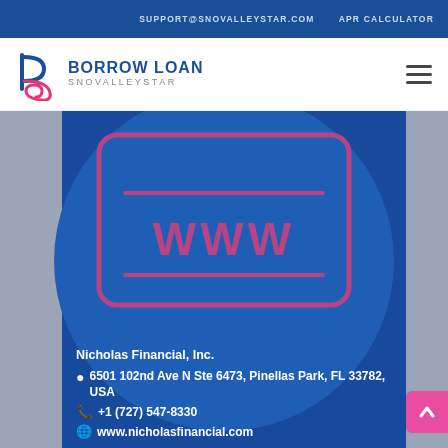SUPPORT@SNOVALLEYSTAR.COM   APR CALCULATOR
[Figure (logo): Borrow Loan Snovalleystar logo with stylized 'b' letter mark in pink/magenta]
BORROW LOAN SNOVALLEYSTAR
[Figure (illustration): WWW browser window icon on blue circular background with grey sidebars]
Nicholas Financial, Inc.
6501 102nd Ave N Ste 6473, Pinellas Park, FL 33782, USA
+1 (727) 547-8330
www.nicholasfinancial.com